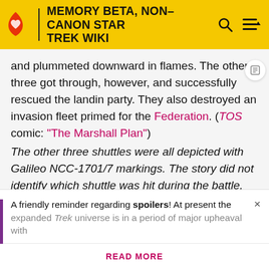MEMORY BETA, NON-CANON STAR TREK WIKI
and plummeted downward in flames. The other three got through, however, and successfully rescued the landing party. They also destroyed an invasion fleet primed for the Federation. (TOS comic: "The Marshall Plan")
The other three shuttles were all depicted with Galileo NCC-1701/7 markings. The story did not identify which shuttle was hit during the battle, except that it was not Scott's ship.
Kirk, Spock and Leonard McCoy landed Galileo onto the hangar deck of a mysterious space station shaped like a coffin. It was covered with a strange, hypnotic red moss
A friendly reminder regarding spoilers! At present the expanded Trek universe is in a period of major upheaval with
READ MORE